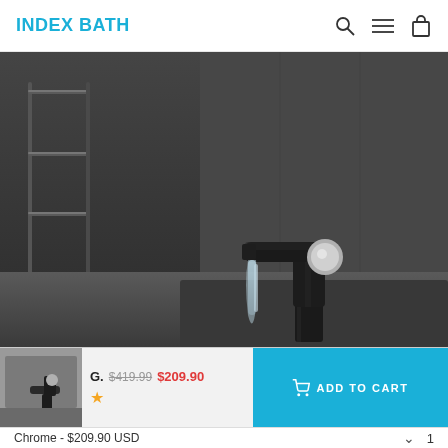INDEX BATH
[Figure (photo): A modern matte black waterfall bathroom faucet with a chrome circular handle, mounted on a dark stone sink, water flowing from the spout. Dark gray textured wall background with towel bars visible on the left.]
G.  $419.99  $209.90  ★  ADD TO CART
Chrome - $209.90 USD  ∨  1